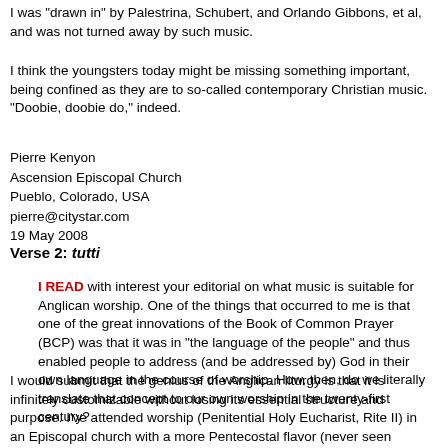I was "drawn in" by Palestrina, Schubert, and Orlando Gibbons, et al, and was not turned away by such music.
I think the youngsters today might be missing something important, being confined as they are to so-called contemporary Christian music. "Doobie, doobie do," indeed.
Pierre Kenyon
Ascension Episcopal Church
Pueblo, Colorado, USA
pierre@citystar.com
19 May 2008
Verse 2: tutti
I READ with interest your editorial on what music is suitable for Anglican worship. One of the things that occurred to me is that one of the great innovations of the Book of Common Prayer (BCP) was that it was in "the language of the people" and thus enabled people to address (and be addressed by) God in their own language in the course of worship. How, then, do we literally translate that concept to our own worship in the twenty-first century?
I would submit that the genius of the Anglican liturgy is that it is infinitely customizable without losing its essential structure and purpose. I've attended worship (Penitential Holy Eucharist, Rite II) in an Episcopal church with a more Pentecostal flavor (never seen anyone slain in the Spirit in an Episcopal church before. . . ), in a low-church Virginia setting (same Rite) and in a high-